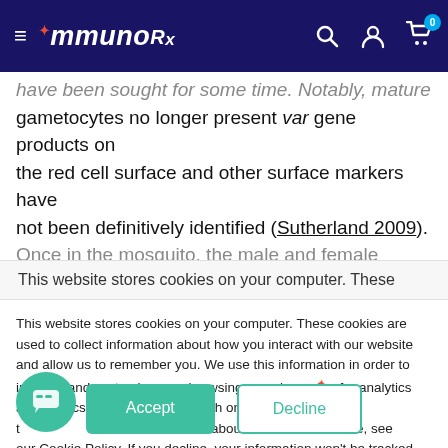ImmunORx — navigation header with hamburger menu, search, account, and cart icons
have been sought for some time. Notably, mature gametocytes no longer present var gene products on the red cell surface and other surface markers have not been definitively identified (Sutherland 2009). Once in the mosquito, the male and female
This website stores cookies on your computer. These
This website stores cookies on your computer. These cookies are used to collect information about how you interact with our website and allow us to remember you. We use this information in order to improve and customize your browsing experience and for analytics and metrics about our visitors both on this website and other media. To find out more about the cookies we use, see our Cookie Policy. If you decline, your information won't be tracked when you visit this website. A single cookie will be used in your browser to remember your preference not to be tracked.
Got any questions? I'm happy to help.
Accept
Decline